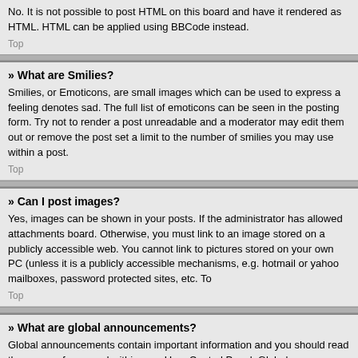No. It is not possible to post HTML on this board and have it rendered as HTML. HTML can be applied using BBCode instead.
Top
» What are Smilies?
Smilies, or Emoticons, are small images which can be used to express a feeling denotes sad. The full list of emoticons can be seen in the posting form. Try not to render a post unreadable and a moderator may edit them out or remove the post set a limit to the number of smilies you may use within a post.
Top
» Can I post images?
Yes, images can be shown in your posts. If the administrator has allowed attachments board. Otherwise, you must link to an image stored on a publicly accessible web. You cannot link to pictures stored on your own PC (unless it is a publicly accessible mechanisms, e.g. hotmail or yahoo mailboxes, password protected sites, etc. To
Top
» What are global announcements?
Global announcements contain important information and you should read them every forum and within your User Control Panel. Global announcement permissi
Top
» What are announcements?
Announcements often contain important information for the forum you are currently possible. Announcements appear at the top of every page in the forum to which